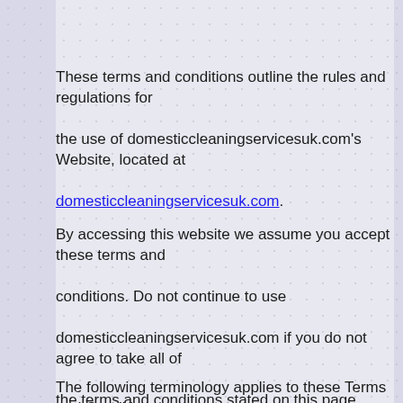These terms and conditions outline the rules and regulations for the use of domesticcleaningservicesuk.com's Website, located at domesticcleaningservicesuk.com.
By accessing this website we assume you accept these terms and conditions. Do not continue to use domesticcleaningservicesuk.com if you do not agree to take all of the terms and conditions stated on this page.
The following terminology applies to these Terms and Conditions,